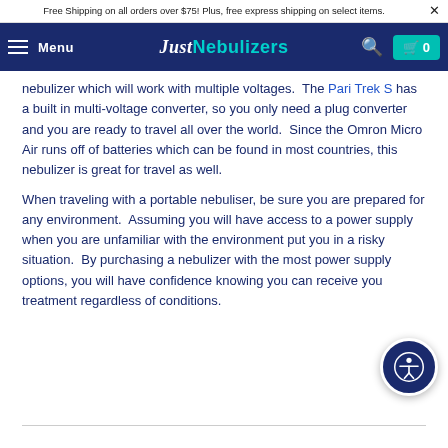Free Shipping on all orders over $75! Plus, free express shipping on select items.
Menu | Just Nebulizers | 0
nebulizer which will work with multiple voltages. The Pari Trek S has a built in multi-voltage converter, so you only need a plug converter and you are ready to travel all over the world. Since the Omron Micro Air runs off of batteries which can be found in most countries, this nebulizer is great for travel as well.
When traveling with a portable nebuliser, be sure you are prepared for any environment. Assuming you will have access to a power supply when you are unfamiliar with the environment put you in a risky situation. By purchasing a nebulizer with the most power supply options, you will have confidence knowing you can receive you treatment regardless of conditions.